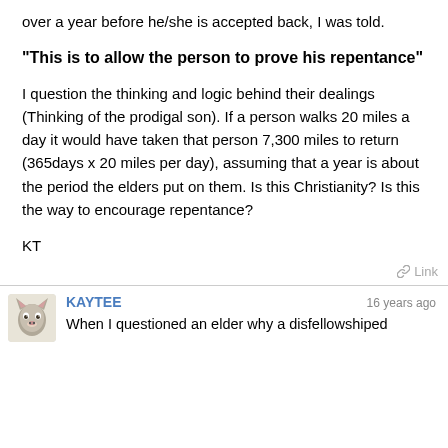over a year before he/she is accepted back, I was told.
"This is to allow the person to prove his repentance"
I question the thinking and logic behind their dealings (Thinking of the prodigal son). If a person walks 20 miles a day it would have taken that person 7,300 miles to return (365days x 20 miles per day), assuming that a year is about the period the elders put on them. Is this Christianity? Is this the way to encourage repentance?
KT
Link
KAYTEE
16 years ago
When I questioned an elder why a disfellowshiped